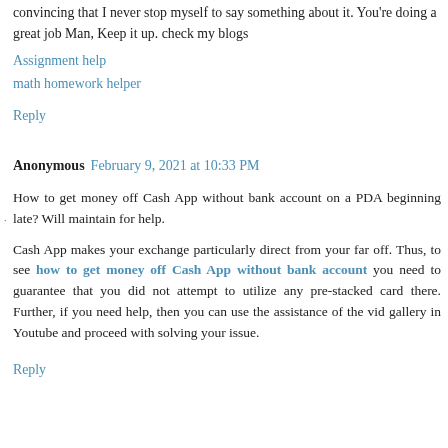convincing that I never stop myself to say something about it. You're doing a great job Man, Keep it up. check my blogs
Assignment help
math homework helper
Reply
Anonymous  February 9, 2021 at 10:33 PM
How to get money off Cash App without bank account on a PDA beginning late? Will maintain for help.
Cash App makes your exchange particularly direct from your far off. Thus, to see how to get money off Cash App without bank account you need to guarantee that you did not attempt to utilize any pre-stacked card there. Further, if you need help, then you can use the assistance of the vid gallery in Youtube and proceed with solving your issue.
Reply